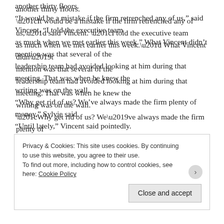another thirty floors. “It would be a mistake if the firm retrenched any of us,” said Vincent. “I told the executive team as much when we met earlier this week.” What Vincent didn’t mention was that several of the leadership team had avoided looking at him during that meeting. That was when he knew the writing was on the wall. “Why get rid of us? We’ve always made the firm plenty of money,” Sylvie said. “Until lately,” Vincent said pointedly. They’d failed to secure two major deals in a row. Those deals had both gone to a key competitor,
Privacy & Cookies: This site uses cookies. By continuing to use this website, you agree to their use. To find out more, including how to control cookies, see here: Cookie Policy
Close and accept